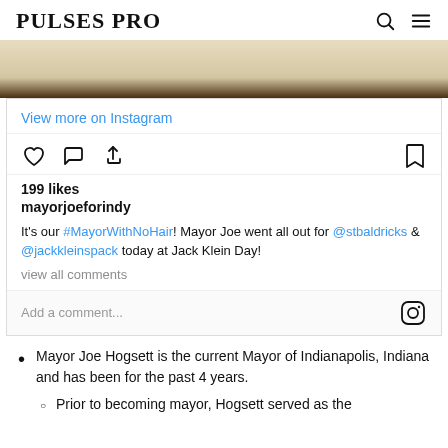PULSES PRO
[Figure (photo): Instagram post image showing a wooden surface texture, light beige/tan color above a dark brown horizontal stripe]
View more on Instagram
[Figure (infographic): Instagram action icons: heart (like), speech bubble (comment), share arrow, and bookmark icon]
199 likes
mayorjoeforindy
It's our #MayorWithNoHair! Mayor Joe went all out for @stbaldricks & @jackkleinspack today at Jack Klein Day!
view all comments
Add a comment...
Mayor Joe Hogsett is the current Mayor of Indianapolis, Indiana and has been for the past 4 years.
Prior to becoming mayor, Hogsett served as the